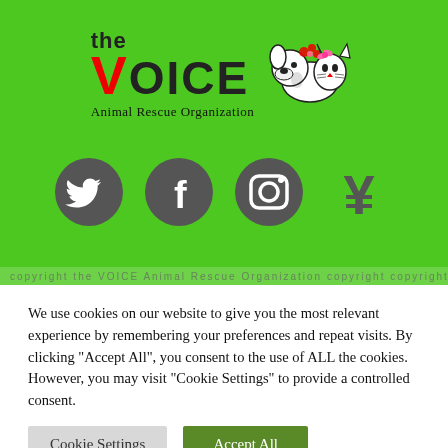[Figure (logo): The Voice Animal Rescue Organization logo with text and illustrated dog/cat graphic on green background]
[Figure (infographic): Four social media icons: Twitter bird, Facebook f, Instagram camera, and Yen/currency symbol, shown in dark gray on green background]
We use cookies on our website to give you the most relevant experience by remembering your preferences and repeat visits. By clicking “Accept All”, you consent to the use of ALL the cookies. However, you may visit “Cookie Settings” to provide a controlled consent.
Cookie Settings | Accept All